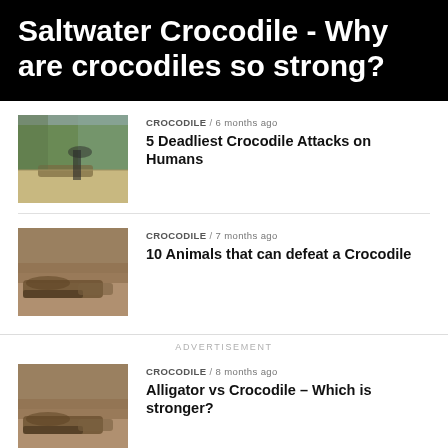Saltwater Crocodile - Why are crocodiles so strong?
CROCODILE / 6 months ago
5 Deadliest Crocodile Attacks on Humans
CROCODILE / 7 months ago
10 Animals that can defeat a Crocodile
ADVERTISEMENT
CROCODILE / 8 months ago
Alligator vs Crocodile – Which is stronger?